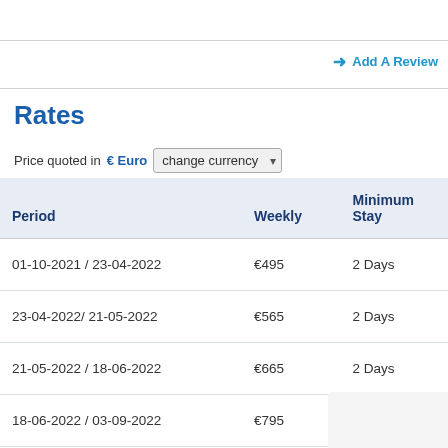→ Add A Review
Rates
Price quoted in € Euro  change currency
| Period | Weekly | Minimum Stay |
| --- | --- | --- |
| 01-10-2021 / 23-04-2022 | €495 | 2 Days |
| 23-04-2022/ 21-05-2022 | €565 | 2 Days |
| 21-05-2022 / 18-06-2022 | €665 | 2 Days |
| 18-06-2022 / 03-09-2022 | €795 | 4 Days |
| 03-09-2022 / 01-10-2022 | €665 | 2 Days |